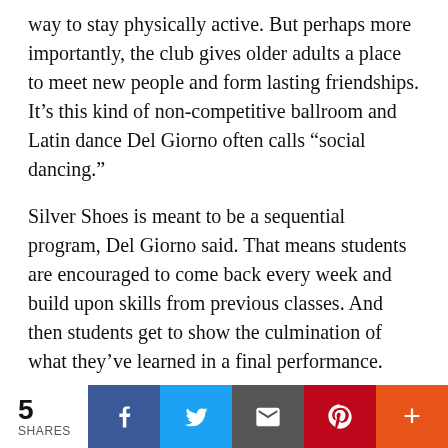way to stay physically active. But perhaps more importantly, the club gives older adults a place to meet new people and form lasting friendships. It’s this kind of non-competitive ballroom and Latin dance Del Giorno often calls “social dancing.”
Silver Shoes is meant to be a sequential program, Del Giorno said. That means students are encouraged to come back every week and build upon skills from previous classes. And then students get to show the culmination of what they’ve learned in a final performance.
Fostering social interaction among older adults who don’t have many chances to meet new people is crucial, Del Gornio said. But especially since the onset COVID-19.
“There was a huge need before the pandemic,” she
5 SHARES | Facebook | Twitter | Email | Pinterest | More